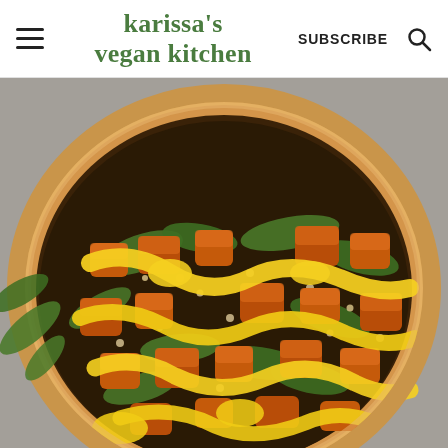karissa's vegan kitchen | SUBSCRIBE
[Figure (photo): Overhead photo of a wooden bowl filled with roasted sweet potato cubes, arugula greens, quinoa, and a bright yellow mango or turmeric dressing drizzled over the top. The bowl is placed on a gray stone surface with some arugula leaves beside it.]